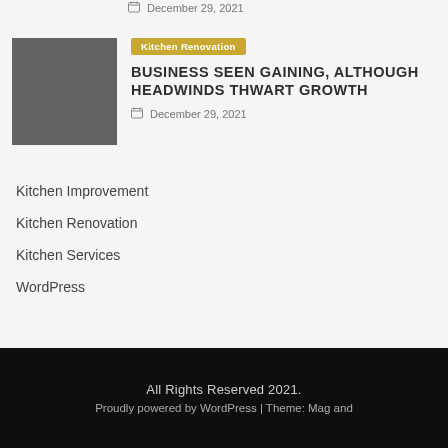December 29, 2021
[Figure (photo): Article thumbnail image placeholder (gray square)]
Kitchen Renovation
BUSINESS SEEN GAINING, ALTHOUGH HEADWINDS THWART GROWTH
December 29, 2021
Kitchen Improvement
Kitchen Renovation
Kitchen Services
WordPress
All Rights Reserved 2021. Proudly powered by WordPress | Theme: Mag and